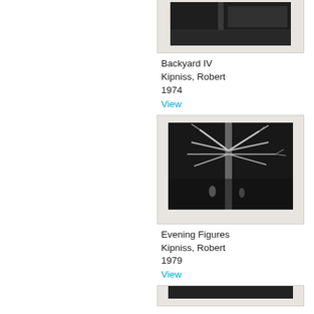[Figure (photo): Framed artwork photo showing a dark landscape with a tree trunk, 'Backyard IV' by Robert Kipniss, 1974]
Backyard IV
Kipniss, Robert
1974
View
[Figure (photo): Framed artwork photo showing a bare tree with white branches against dark background, 'Evening Figures' by Robert Kipniss, 1979]
Evening Figures
Kipniss, Robert
1979
View
[Figure (photo): Partial view of a third framed artwork, partially cut off at the bottom]